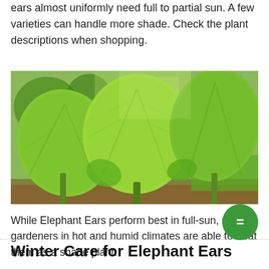ears almost uniformly need full to partial sun. A few varieties can handle more shade. Check the plant descriptions when shopping.
[Figure (photo): Large green elephant ear plants with huge heart-shaped leaves in an outdoor garden setting with grass and trees in the background.]
While Elephant Ears perform best in full-sun, many gardeners in hot and humid climates are able to treat them as a shade plant.
Winter Care for Elephant Ears